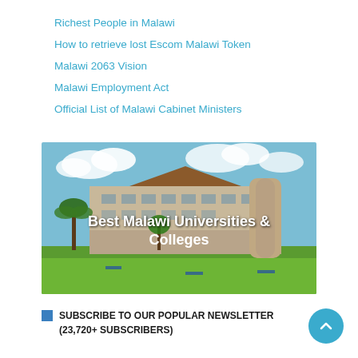Richest People in Malawi
How to retrieve lost Escom Malawi Token
Malawi 2063 Vision
Malawi Employment Act
Official List of Malawi Cabinet Ministers
[Figure (photo): Photograph of a university building in Malawi with green lawn and trees in the foreground, overlaid with white bold text reading 'Best Malawi Universities & Colleges']
SUBSCRIBE TO OUR POPULAR NEWSLETTER (23,720+ SUBSCRIBERS)